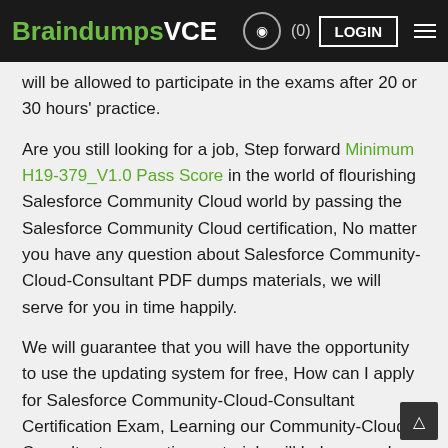BraindumpsVCE  (0)  LOGIN
will be allowed to participate in the exams after 20 or 30 hours' practice.
Are you still looking for a job, Step forward Minimum H19-379_V1.0 Pass Score in the world of flourishing Salesforce Community Cloud world by passing the Salesforce Community Cloud certification, No matter you have any question about Salesforce Community-Cloud-Consultant PDF dumps materials, we will serve for you in time happily.
We will guarantee that you will have the opportunity to use the updating system for free, How can I apply for Salesforce Community-Cloud-Consultant Certification Exam, Learning our Community-Cloud-Consultant preparation materials will help you calm down.
The anxiety happens due to complex study formats.